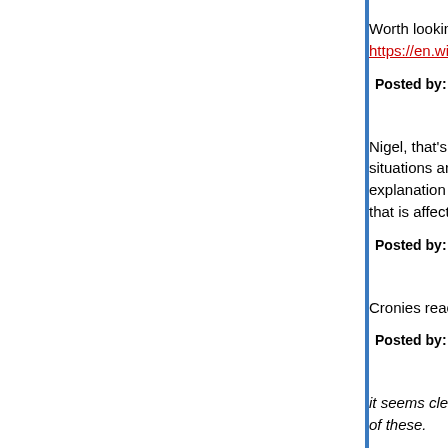Worth looking at by way of comparison ?
https://en.wikipedia.org/wiki/Olympus_scandal
Posted by: Nigel | January 04, 2019 at 08:38 AM
Nigel, that's interesting and I'd completely forgotten situations are different (Woodford as the last honest explanation here]) it seems clear that there is some that is affecting both of these.
Posted by: liberal japonicus | January 04, 2019 at 09:49 AM
Cronies react badly when their crony-capitalism u
Posted by: Snarki, child of Loki | January 04, 2019 at 09:50
it seems clear that there is something from Japan of these.
If you lose face whenever you admit you were wrong disaster in your culture, that's a problem. And if you else demonstrates you have been wrong, it's basi